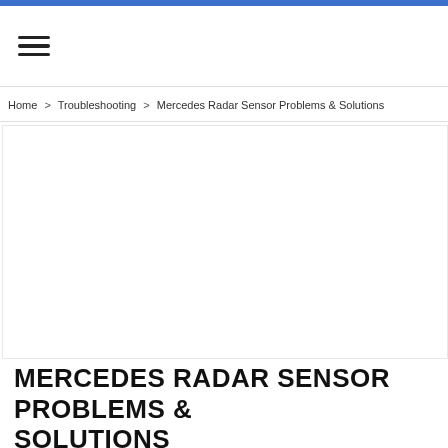≡
Home > Troubleshooting > Mercedes Radar Sensor Problems & Solutions
[Figure (photo): Large image placeholder area for article hero image (white/blank)]
MERCEDES RADAR SENSOR PROBLEMS & SOLUTIONS